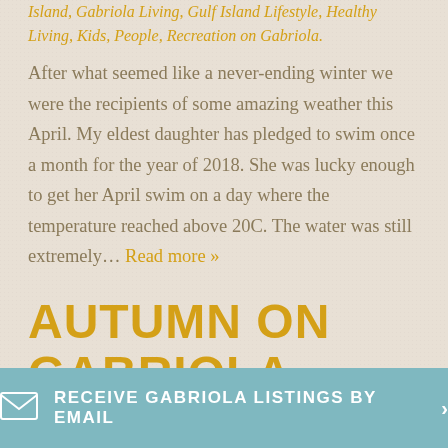Island, Gabriola Living, Gulf Island Lifestyle, Healthy Living, Kids, People, Recreation on Gabriola.
After what seemed like a never-ending winter we were the recipients of some amazing weather this April. My eldest daughter has pledged to swim once a month for the year of 2018. She was lucky enough to get her April swim on a day where the temperature reached above 20C. The water was still extremely… Read more »
AUTUMN ON GABRIOLA
Posted 7:51 pm by Robyn McMahon & filed under Blog Post, Buy Local, Crafts, family life, Gabriola Island,
RECEIVE GABRIOLA LISTINGS BY EMAIL